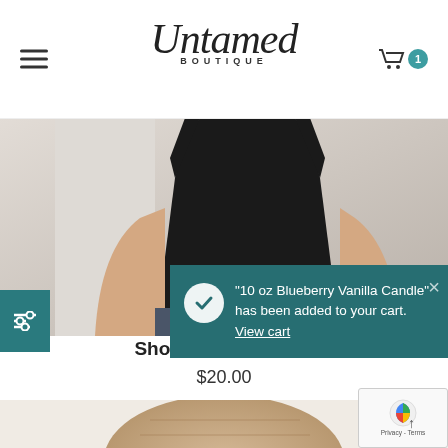Untamed Boutique
[Figure (photo): Product photo of a person wearing a black shoulder pad tshirt against a light gray/white background, torso visible from shoulders to mid-section]
"10 oz Blueberry Vanilla Candle" has been added to your cart. View cart
Shoulder Pad Tshirt
$20.00
[Figure (photo): Partial view of a second product (appears to be a woven/rattan hat or basket), visible at bottom of page]